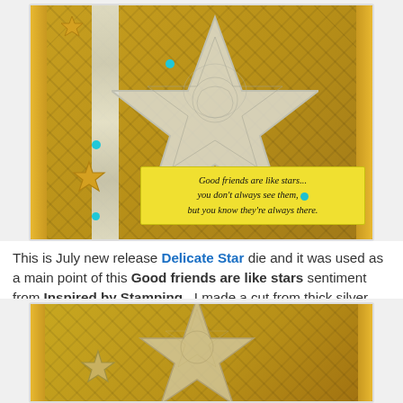[Figure (photo): Handmade greeting card featuring a large delicate star die cut from silver glitter cardstock on a gold washi tape patterned background, with small gold star chipboards and teal rhinestones, and a yellow sentiment tag reading 'Good friends are like stars... you don't always see them, but you know they're always there.']
This is July new release Delicate Star die and it was used as a main point of this Good friends are like stars sentiment from Inspired by Stamping . I made a cut from thick silver glitter cardstock and made my background with washi tapes only.
The small stars are heat embossed chipboards.
[Figure (photo): Close-up view of a handmade card showing a delicate star die cut with gold/brown patterned washi tape background and a smaller star embellishment.]